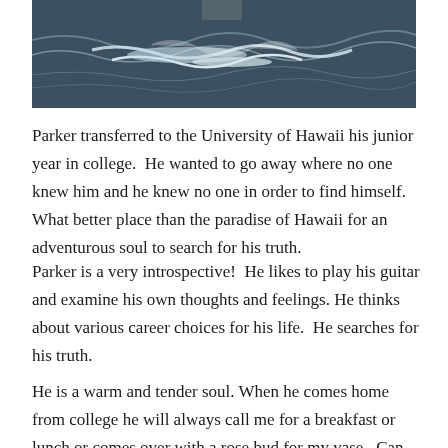[Figure (photo): Top portion of a photo showing water/ocean waves with a person's lower body visible at the edge, dark water with white foam/ripples]
Parker transferred to the University of Hawaii his junior year in college.  He wanted to go away where no one knew him and he knew no one in order to find himself.  What better place than the paradise of Hawaii for an adventurous soul to search for his truth.
Parker is a very introspective!  He likes to play his guitar and examine his own thoughts and feelings. He thinks about various career choices for his life.  He searches for his truth.
He is a warm and tender soul. When he comes home from college he will always call me for a breakfast or lunch or comes over with a rose bud for my vase.  Can